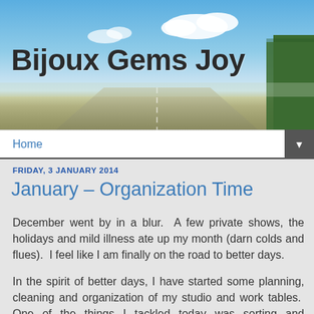[Figure (photo): Blog header banner showing a road scene with blue sky, white clouds, and trees on the right side]
Bijoux Gems Joy
Home ▼
FRIDAY, 3 JANUARY 2014
January – Organization Time
December went by in a blur.  A few private shows, the holidays and mild illness ate up my month (darn colds and flues).  I feel like I am finally on the road to better days.
In the spirit of better days, I have started some planning, cleaning and organization of my studio and work tables.  One of the things I tackled today was sorting and organizing the plastic bags that are so essential to a jewellery artisan's work.  We use the bags to store all kinds of supplies; gemstones